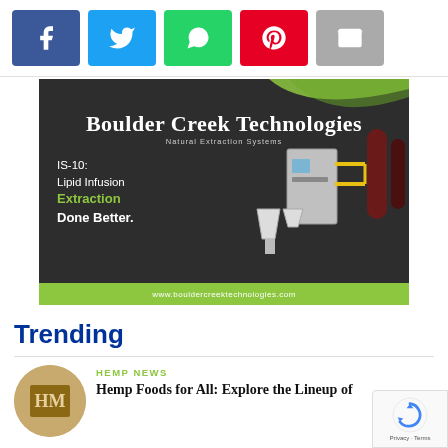[Figure (infographic): Social media share buttons: Facebook (blue), Twitter (light blue), WhatsApp (green), Pinterest (red), Email (grey)]
[Figure (illustration): Advertisement for Boulder Creek Technologies — Natural Extraction Systems. IS-10: Lipid Infusion Extraction Done Better. Image shows industrial extraction machine on dark background. URL: www.bouldercreektechnologies.com]
Trending
HEMP NEWS
Hemp Foods for All: Explore the Lineup of